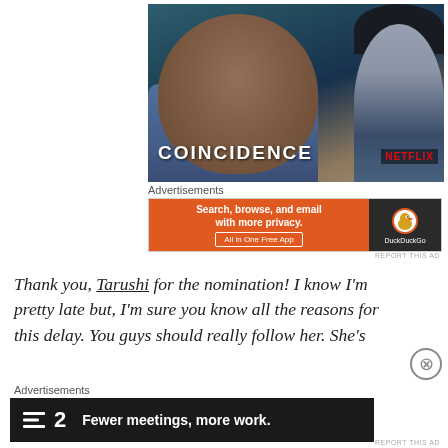[Figure (photo): Netflix show advertisement image showing a young man in a blue shirt with the word COINCIDENCE overlaid, and Netflix logo in the bottom right corner.]
Advertisements
[Figure (other): DuckDuckGo advertisement banner: 'Search, browse, and email with more privacy. All in One Free App' on orange background with DuckDuckGo logo on dark background.]
REPORT THIS AD
Thank you, Tarushi for the nomination! I know I'm pretty late but, I'm sure you know all the reasons for this delay. You guys should really follow her. She's
Advertisements
[Figure (other): Linear B2 advertisement: icon with dashes followed by '2' and text 'Fewer meetings, more work.' on dark background.]
REPORT THIS AD